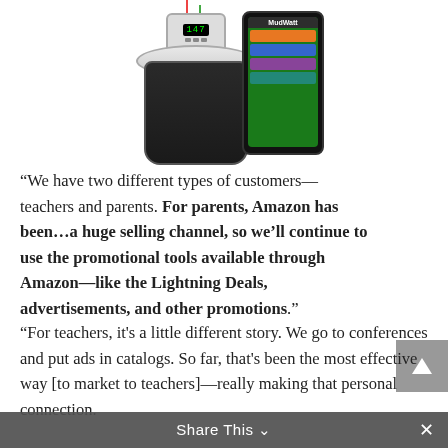[Figure (photo): MudWatt Explorer Kit product photo showing a mud-filled container with digital meter/electrodes and a smartphone displaying the MudWatt app]
“We have two different types of customers—teachers and parents. For parents, Amazon has been…a huge selling channel, so we’ll continue to use the promotional tools available through Amazon—like the Lightning Deals, advertisements, and other promotions.”
“For teachers, it’s a little different story. We go to conferences and put ads in catalogs. So far, that’s been the most effective way [to market to teachers]—really making that personal connection.
Share This